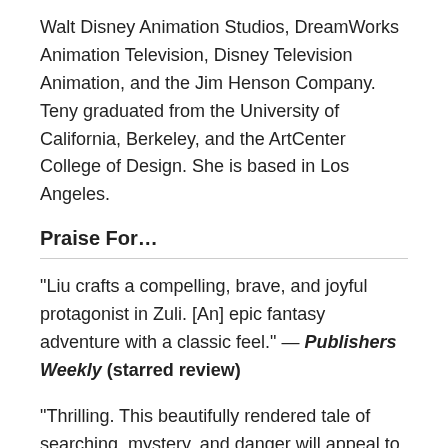Walt Disney Animation Studios, DreamWorks Animation Television, Disney Television Animation, and the Jim Henson Company. Teny graduated from the University of California, Berkeley, and the ArtCenter College of Design. She is based in Los Angeles.
Praise For…
"Liu crafts a compelling, brave, and joyful protagonist in Zuli. [An] epic fantasy adventure with a classic feel." — Publishers Weekly (starred review)
"Thrilling. This beautifully rendered tale of searching, mystery, and danger will appeal to fantasy readers who enjoy stories of adventure and discovery" — School Library Journal (starred review)
"Wondrously constructed. Nail-biting stakes, staggeringly good action sequences, and characterization and world-building as rich as in any prose novel make this series opener